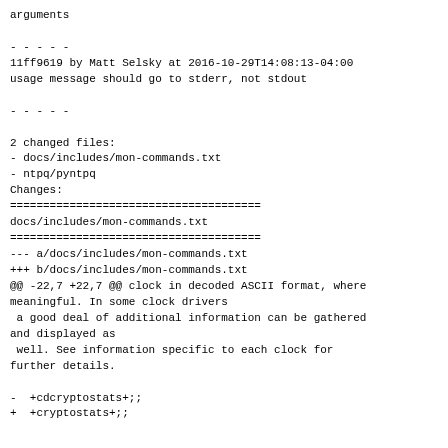arguments
- - - - -
11ff9619 by Matt Selsky at 2016-10-29T14:08:13-04:00
usage message should go to stderr, not stdout
- - - - -
2 changed files:
- docs/includes/mon-commands.txt
- ntpq/pyntpq
Changes:
======================================
docs/includes/mon-commands.txt
======================================
--- a/docs/includes/mon-commands.txt
+++ b/docs/includes/mon-commands.txt
@@ -22,7 +22,7 @@ clock in decoded ASCII format, where
meaningful. In some clock drivers
 a good deal of additional information can be gathered
and displayed as
 well. See information specific to each clock for
further details.

-  +cdcryptostats+;;
+  +cryptostats+;;